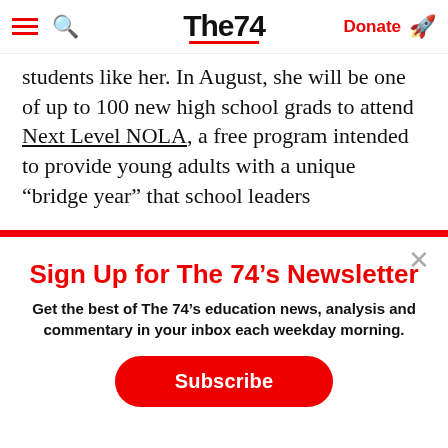The 74 — Donate
students like her. In August, she will be one of up to 100 new high school grads to attend Next Level NOLA, a free program intended to provide young adults with a unique “bridge year” that school leaders
Sign Up for The 74’s Newsletter
Get the best of The 74’s education news, analysis and commentary in your inbox each weekday morning.
Subscribe